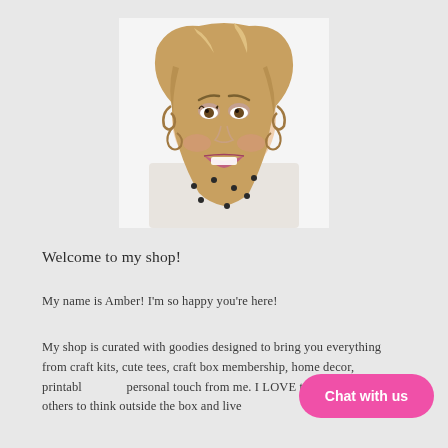[Figure (photo): Headshot photo of a smiling woman with long curly highlighted hair, wearing a white top with black polka dots, photographed against a white background.]
Welcome to my shop!
My name is Amber! I'm so happy you're here!
My shop is curated with goodies designed to bring you everything from craft kits, cute tees, craft box membership, home decor, printabl… personal touch from me. I LOVE to encourage others to think outside the box and live